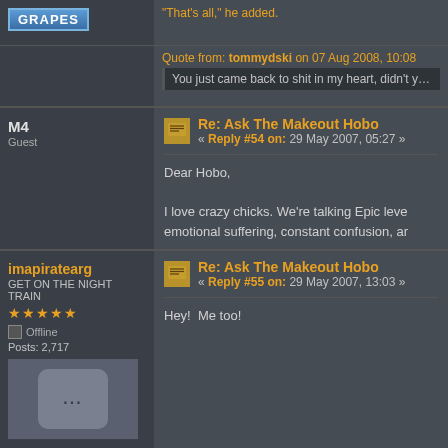[Figure (screenshot): Forum post top strip with GRAPES badge on left and quote from tommydski on right]
"That's all," he added.
Quote from: tommydski on 07 Aug 2008, 10:08
You just came back to shit in my heart, didn't you Rya
M4
Guest
Re: Ask The Makeout Hobo
« Reply #54 on: 29 May 2007, 05:27 »
Dear Hobo,

I love crazy chicks. We're talking Epic leve emotional suffering, constant confusion, ar
imapiratearg
GET ON THE NIGHT TRAIN
Offline
Posts: 2,717
Re: Ask The Makeout Hobo
« Reply #55 on: 29 May 2007, 13:03 »
Hey!  Me too!
[Figure (photo): Avatar image placeholder with three dots icon]